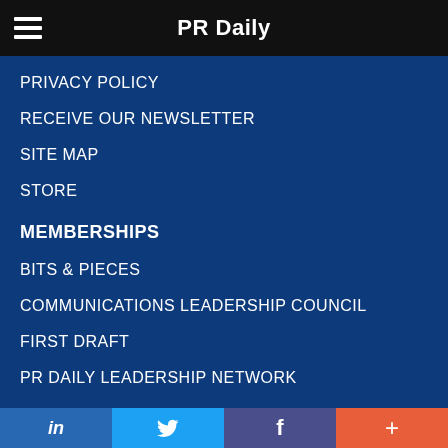PR Daily
PRIVACY POLICY
RECEIVE OUR NEWSLETTER
SITE MAP
STORE
MEMBERSHIPS
BITS & PIECES
COMMUNICATIONS LEADERSHIP COUNCIL
FIRST DRAFT
PR DAILY LEADERSHIP NETWORK
in  |  Twitter bird  |  f  |  +